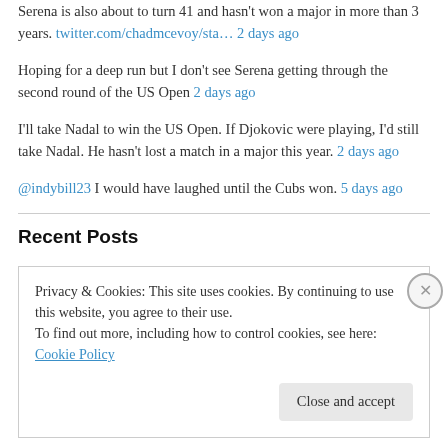Serena is also about to turn 41 and hasn't won a major in more than 3 years. twitter.com/chadmcevoy/sta… 2 days ago
Hoping for a deep run but I don't see Serena getting through the second round of the US Open 2 days ago
I'll take Nadal to win the US Open. If Djokovic were playing, I'd still take Nadal. He hasn't lost a match in a major this year. 2 days ago
@indybill23 I would have laughed until the Cubs won. 5 days ago
Recent Posts
Privacy & Cookies: This site uses cookies. By continuing to use this website, you agree to their use.
To find out more, including how to control cookies, see here: Cookie Policy
Close and accept